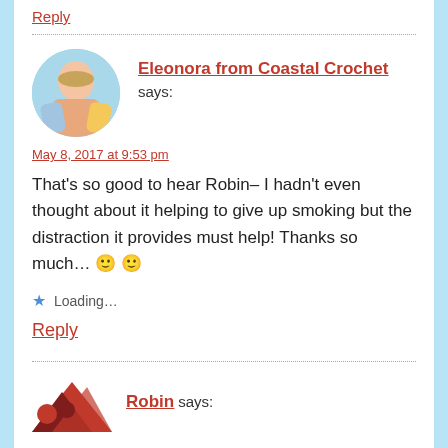Reply
Eleonora from Coastal Crochet says:
May 8, 2017 at 9:53 pm
That's so good to hear Robin– I hadn't even thought about it helping to give up smoking but the distraction it provides must help! Thanks so much… 🙂 🙂
Loading…
Reply
Robin says: